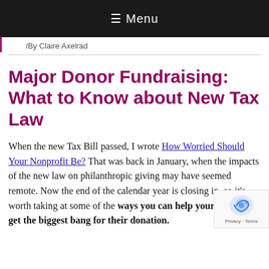≡ Menu
/By Claire Axelrad
Major Donor Fundraising: What to Know about New Tax Law
When the new Tax Bill passed, I wrote How Worried Should Your Nonprofit Be? That was back in January, when the impacts of the new law on philanthropic giving may have seemed remote. Now the end of the calendar year is closing in, so it's worth taking at some of the ways you can help your major d get the biggest bang for their donation.